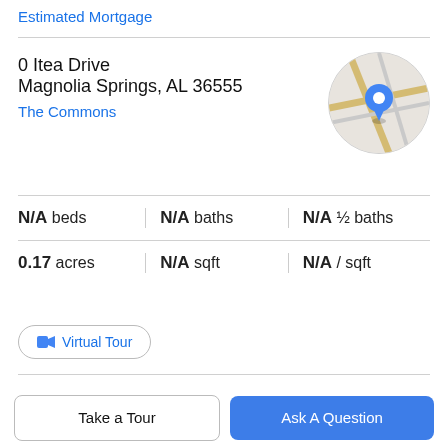Estimated Mortgage
0 Itea Drive
Magnolia Springs, AL 36555
The Commons
[Figure (map): Circular map thumbnail showing street map with a blue location pin marker in the center]
N/A beds   N/A baths   N/A ½ baths
0.17 acres   N/A sqft   N/A / sqft
Virtual Tour
Property Description
The Commons is an exclusive private neighborhood with condo ownership that clings to an architectural theme. Lot